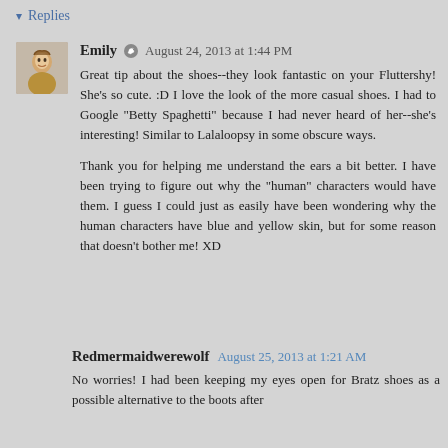▾ Replies
Emily  August 24, 2013 at 1:44 PM

Great tip about the shoes--they look fantastic on your Fluttershy! She's so cute. :D I love the look of the more casual shoes. I had to Google "Betty Spaghetti" because I had never heard of her--she's interesting! Similar to Lalaloopsy in some obscure ways.

Thank you for helping me understand the ears a bit better. I have been trying to figure out why the "human" characters would have them. I guess I could just as easily have been wondering why the human characters have blue and yellow skin, but for some reason that doesn't bother me! XD
Redmermaidwerewolf  August 25, 2013 at 1:21 AM

No worries! I had been keeping my eyes open for Bratz shoes as a possible alternative to the boots after